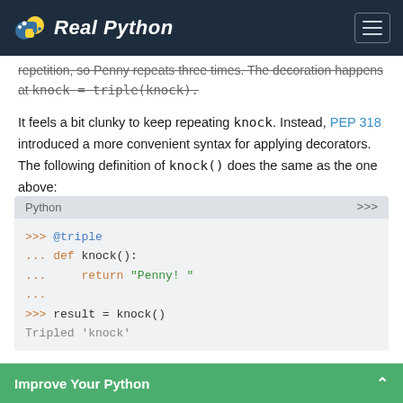Real Python
repetition, so Penny repeats three times. The decoration happens at knock = triple(knock).
It feels a bit clunky to keep repeating knock. Instead, PEP 318 introduced a more convenient syntax for applying decorators. The following definition of knock() does the same as the one above:
[Figure (screenshot): Python code block showing: >>> @triple ... def knock(): ...     return "Penny! " ... >>> result = knock() Tripled 'knock']
Improve Your Python